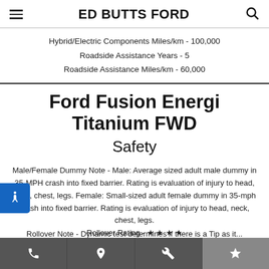ED BUTTS FORD
Hybrid/Electric Components Miles/km - 100,000
Roadside Assistance Years - 5
Roadside Assistance Miles/km - 60,000
Ford Fusion Energi Titanium FWD
Safety
Male/Female Dummy Note - Male: Average sized adult male dummy in 35-MPH crash into fixed barrier. Rating is evaluation of injury to head, neck, chest, legs. Female: Small-sized adult female dummy in 35-mph crash into fixed barrier. Rating is evaluation of injury to head, neck, chest, legs.
Rollover Rating - ★ ★ ★ ★
Rollover Rating Dynamic Test Result - No Tip
Risk of Rollover - 10.90%